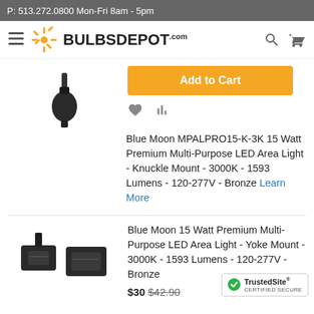P: 513.272.0800 Mon-Fri 8am - 5pm
[Figure (logo): Bulbs Depot logo with orange starburst icon and bold text BULBSDEPOT.com]
[Figure (photo): Knuckle mount LED area light product image - dark fixture on white background]
Add to Cart
Blue Moon MPALPRO15-K-3K 15 Watt Premium Multi-Purpose LED Area Light - Knuckle Mount - 3000K - 1593 Lumens - 120-277V - Bronze Learn More
[Figure (photo): Two LED area light fixtures - yoke mount - shown from front, dark/black color]
Blue Moon 15 Watt Premium Multi-Purpose LED Area Light - Yoke Mount - 3000K - 1593 Lumens - 120-277V - Bronze
$30 $42.90